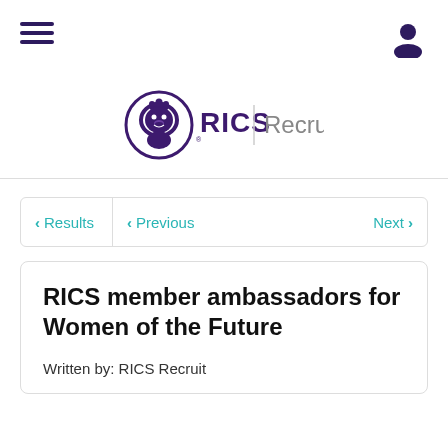Menu / User icon header
[Figure (logo): RICS Recruit logo with lion emblem in purple and 'RICS' wordmark, followed by 'Recruit' in grey]
< Results  < Previous  Next >
RICS member ambassadors for Women of the Future
Written by: RICS Recruit